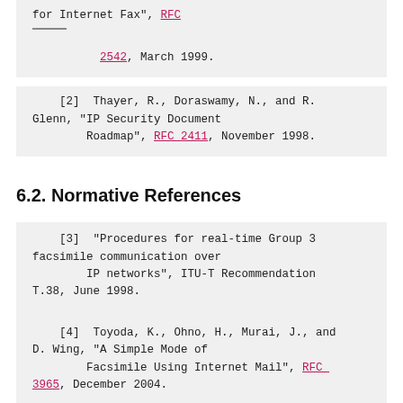for Internet Fax", RFC 2542, March 1999.
[2]  Thayer, R., Doraswamy, N., and R. Glenn, "IP Security Document Roadmap", RFC 2411, November 1998.
6.2. Normative References
[3]  "Procedures for real-time Group 3 facsimile communication over IP networks", ITU-T Recommendation T.38, June 1998.
[4]  Toyoda, K., Ohno, H., Murai, J., and D. Wing, "A Simple Mode of Facsimile Using Internet Mail", RFC 3965, December 2004.
[5]  Bradner, S., "Key words for use in